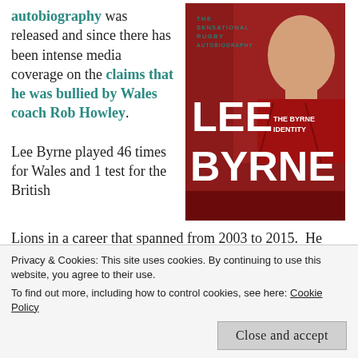autobiography was released and since there has been intense media coverage on the claims that he was bullied by Wales coach Rob Howley.
[Figure (photo): Book cover of 'Lee Byrne: The Byrne Identity' showing a man in a red shirt on the cover with text 'The Sensational Rugby Autobiography' at top, and 'Lee Byrne The Byrne Identity' in large white letters.]
Lee Byrne played 46 times for Wales and 1 test for the British Lions in a career that spanned from 2003 to 2015. He
Privacy & Cookies: This site uses cookies. By continuing to use this website, you agree to their use.
To find out more, including how to control cookies, see here: Cookie Policy
Close and accept